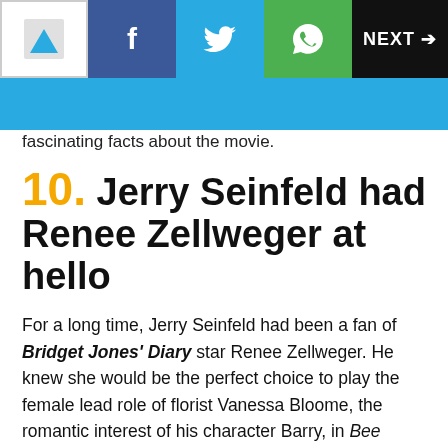[Figure (screenshot): Navigation bar with logo, Facebook, Twitter, WhatsApp icons and NEXT button]
fascinating facts about the movie.
10. Jerry Seinfeld had Renee Zellweger at hello
For a long time, Jerry Seinfeld had been a fan of Bridget Jones' Diary star Renee Zellweger. He knew she would be the perfect choice to play the female lead role of florist Vanessa Bloome, the romantic interest of his character Barry, in Bee Movie. But he had never met her, so he couldn't just call her up and ask her to be in it. She needed to be wooed. And you can't go through the agents and managers, because that gets you nowhere – they get a